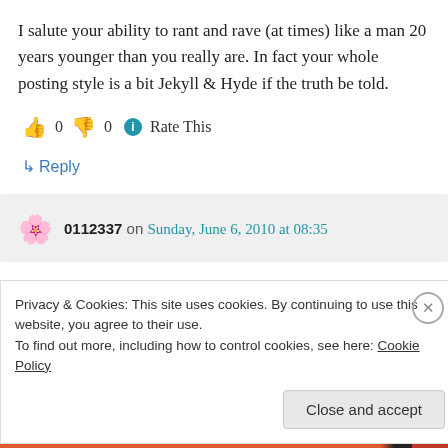I salute your ability to rant and rave (at times) like a man 20 years younger than you really are. In fact your whole posting style is a bit Jekyll & Hyde if the truth be told.
👍 0 👎 0 ℹ Rate This
↳ Reply
0112337 on Sunday, June 6, 2010 at 08:35
Privacy & Cookies: This site uses cookies. By continuing to use this website, you agree to their use.
To find out more, including how to control cookies, see here: Cookie Policy
Close and accept